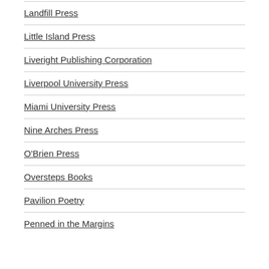Landfill Press
Little Island Press
Liveright Publishing Corporation
Liverpool University Press
Miami University Press
Nine Arches Press
O'Brien Press
Oversteps Books
Pavilion Poetry
Penned in the Margins